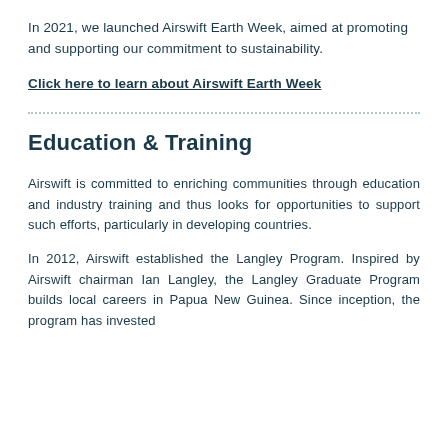In 2021, we launched Airswift Earth Week, aimed at promoting and supporting our commitment to sustainability.
Click here to learn about Airswift Earth Week
Education & Training
Airswift is committed to enriching communities through education and industry training and thus looks for opportunities to support such efforts, particularly in developing countries.
In 2012, Airswift established the Langley Program. Inspired by Airswift chairman Ian Langley, the Langley Graduate Program builds local careers in Papua New Guinea. Since inception, the program has invested